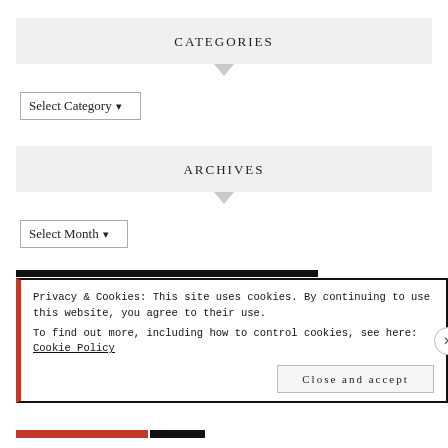CATEGORIES
Select Category ▾
ARCHIVES
Select Month ▾
Privacy & Cookies: This site uses cookies. By continuing to use this website, you agree to their use.
To find out more, including how to control cookies, see here: Cookie Policy
Close and accept